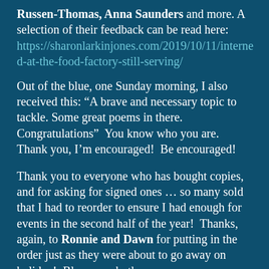Russen-Thomas, Anna Saunders and more. A selection of their feedback can be read here: https://sharonlarkinjones.com/2019/10/11/interned-at-the-food-factory-still-serving/
Out of the blue, one Sunday morning, I also received this: “A brave and necessary topic to tackle. Some great poems in there. Congratulations”  You know who you are. Thank you, I’m encouraged!  Be encouraged!
Thank you to everyone who has bought copies, and for asking for signed ones … so many sold that I had to reorder to ensure I had enough for events in the second half of the year!  Thanks, again, to Ronnie and Dawn for putting in the order just as they were about to go away on holiday!  Bless you, both.
Thanks to Belinda Rimmer, whose Touching...